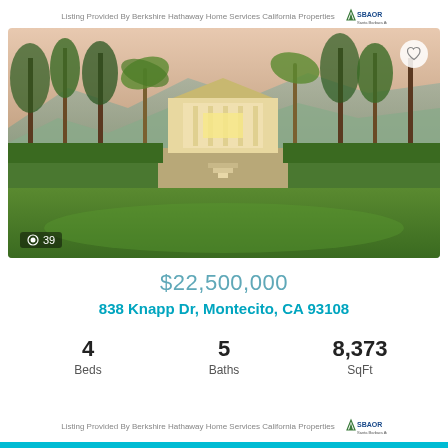Listing Provided By Berkshire Hathaway Home Services California Properties [SBAOR logo]
[Figure (photo): Exterior photo of luxury estate at 838 Knapp Dr, Montecito, CA 93108. A grand neoclassical mansion with formal Italian gardens, lush green lawn in foreground, tall eucalyptus and palm trees, and mountains in background at dusk. Photo count badge shows 39 photos.]
$22,500,000
838 Knapp Dr, Montecito, CA 93108
| Beds | Baths | SqFt |
| --- | --- | --- |
| 4 | 5 | 8,373 |
Listing Provided By Berkshire Hathaway Home Services California Properties [SBAOR logo]